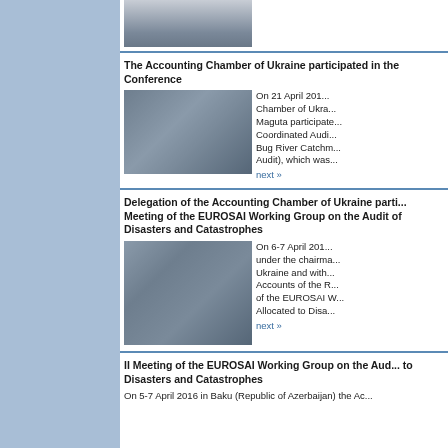[Figure (photo): Group photo at top of page, partially visible]
The Accounting Chamber of Ukraine participated in the Conference
[Figure (photo): People sitting at a conference table with flags, press conference setting]
On 21 April 201... Chamber of Ukra... Maguta participate... Coordinated Audi... Bug River Catchm... Audit), which was...
Delegation of the Accounting Chamber of Ukraine parti... Meeting of the EUROSAI Working Group on the Audit of Disasters and Catastrophes
[Figure (photo): Panel of officials seated at a long table with flags from multiple countries, conference setting]
On 6-7 April 201... under the chairma... Ukraine and with... Accounts of the R... of the EUROSAI W... Allocated to Disa...
II Meeting of the EUROSAI Working Group on the Aud... to Disasters and Catastrophes
On 5-7 April 2016 in Baku (Republic of Azerbaijan) the Ac...